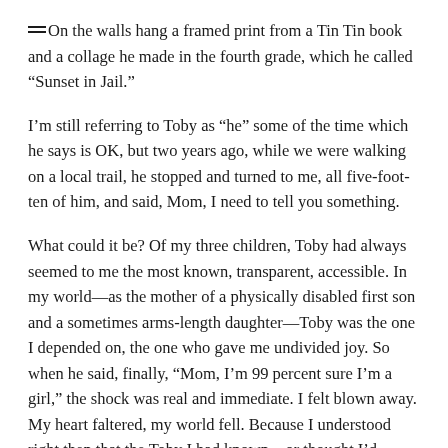On the walls hang a framed print from a Tin Tin book and a collage he made in the fourth grade, which he called “Sunset in Jail.”
I’m still referring to Toby as “he” some of the time which he says is OK, but two years ago, while we were walking on a local trail, he stopped and turned to me, all five-foot-ten of him, and said, Mom, I need to tell you something.
What could it be? Of my three children, Toby had always seemed to me the most known, transparent, accessible. In my world—as the mother of a physically disabled first son and a sometimes arms-length daughter—Toby was the one I depended on, the one who gave me undivided joy. So when he said, finally, “Mom, I’m 99 percent sure I’m a girl,” the shock was real and immediate. I felt blown away. My heart faltered, my world fell. Because I understood right then that the Toby I had known—or thought I’d